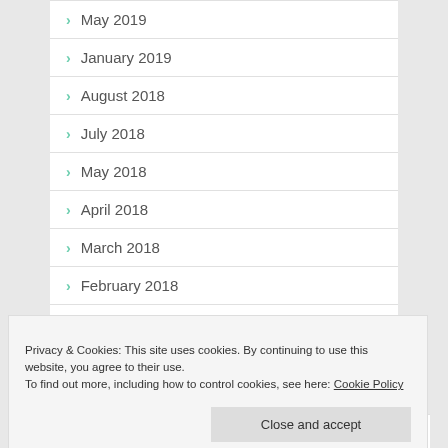May 2019
January 2019
August 2018
July 2018
May 2018
April 2018
March 2018
February 2018
January 2018
December 2017
Privacy & Cookies: This site uses cookies. By continuing to use this website, you agree to their use.
To find out more, including how to control cookies, see here: Cookie Policy
July 2017